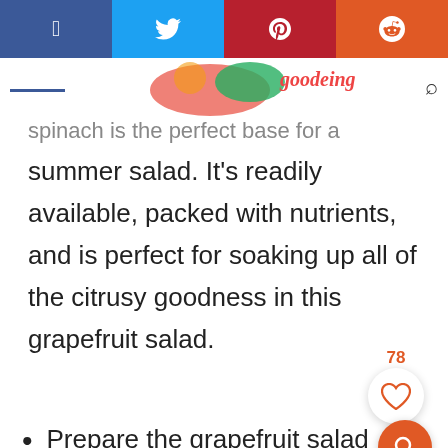[Figure (screenshot): Social sharing bar with Facebook, Twitter, Pinterest, and Reddit buttons]
[Figure (photo): Partial header image with food/salad imagery and logo text]
...spinach is the perfect base for a summer salad. It's readily available, packed with nutrients, and is perfect for soaking up all of the citrusy goodness in this grapefruit salad.
Prepare the grapefruit salad recipe beforehand.
Toss the prepared salad with baby spinach.